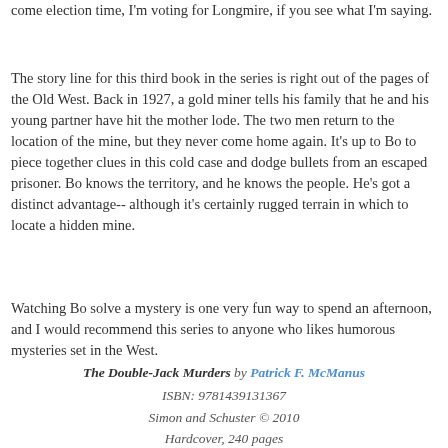come election time, I'm voting for Longmire, if you see what I'm saying.
The story line for this third book in the series is right out of the pages of the Old West. Back in 1927, a gold miner tells his family that he and his young partner have hit the mother lode. The two men return to the location of the mine, but they never come home again. It's up to Bo to piece together clues in this cold case and dodge bullets from an escaped prisoner. Bo knows the territory, and he knows the people. He's got a distinct advantage-- although it's certainly rugged terrain in which to locate a hidden mine.
Watching Bo solve a mystery is one very fun way to spend an afternoon, and I would recommend this series to anyone who likes humorous mysteries set in the West.
The Double-Jack Murders by Patrick F. McManus
ISBN: 9781439131367
Simon and Schuster © 2010
Hardcover, 240 pages